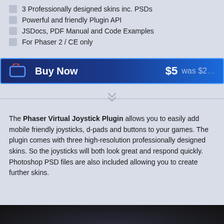3 Professionally designed skins inc. PSDs
Powerful and friendly Plugin API
JSDocs, PDF Manual and Code Examples
For Phaser 2 / CE only
Buy Now  $5  was $2...
The Phaser Virtual Joystick Plugin allows you to easily add mobile friendly joysticks, d-pads and buttons to your games. The plugin comes with three high-resolution professionally designed skins. So the joysticks will both look great and respond quickly. Photoshop PSD files are also included allowing you to create further skins.
[Figure (photo): Dark image strip at bottom, partially visible, showing a joystick or game controller graphic]